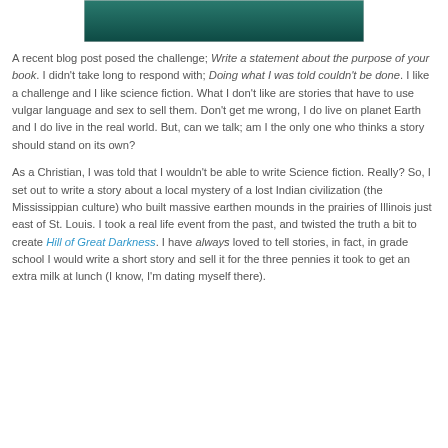[Figure (photo): A teal/dark green rectangular image at the top center of the page, appears to be a book cover or decorative image.]
A recent blog post posed the challenge; Write a statement about the purpose of your book. I didn't take long to respond with; Doing what I was told couldn't be done. I like a challenge and I like science fiction. What I don't like are stories that have to use vulgar language and sex to sell them. Don't get me wrong, I do live on planet Earth and I do live in the real world. But, can we talk; am I the only one who thinks a story should stand on its own?
As a Christian, I was told that I wouldn't be able to write Science fiction. Really? So, I set out to write a story about a local mystery of a lost Indian civilization (the Mississippian culture) who built massive earthen mounds in the prairies of Illinois just east of St. Louis. I took a real life event from the past, and twisted the truth a bit to create Hill of Great Darkness. I have always loved to tell stories, in fact, in grade school I would write a short story and sell it for the three pennies it took to get an extra milk at lunch (I know, I'm dating myself there).